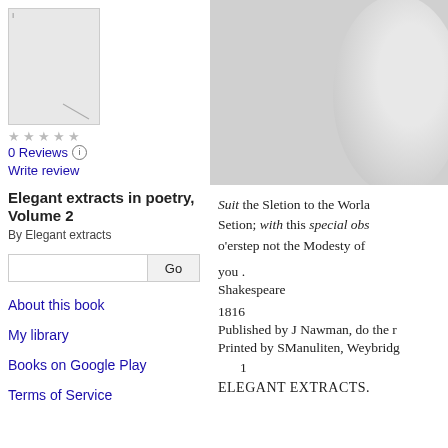[Figure (illustration): Book cover thumbnail for Elegant extracts in poetry, Volume 2, shown as a small gray rectangle]
0 Reviews
Write review
Elegant extracts in poetry, Volume 2
By Elegant extracts
Go
About this book
My library
Books on Google Play
Terms of Service
[Figure (illustration): Partial view of a circular portrait or emblem on a gray background]
Suit the Sletion to the Worla Setion; with this special obs o'erstep not the Modesty of
you .
Shakespeare
1816
Published by J Nawman, do the r
Printed by SManuliten, Weybridg
1
ELEGANT EXTRACTS.